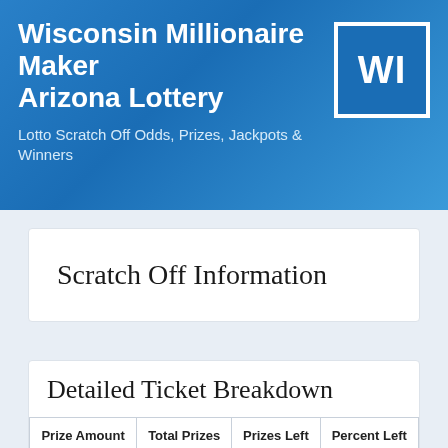Wisconsin Millionaire Maker Arizona Lottery
Lotto Scratch Off Odds, Prizes, Jackpots & Winners
Scratch Off Information
Detailed Ticket Breakdown
| Prize Amount | Total Prizes | Prizes Left | Percent Left |
| --- | --- | --- | --- |